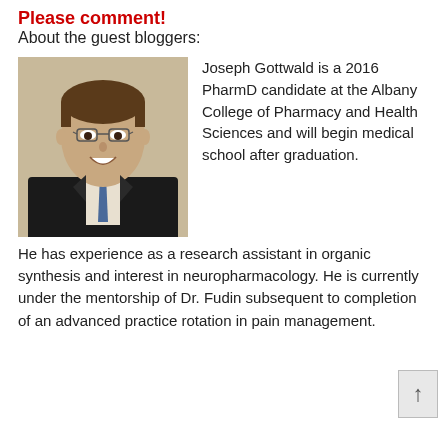Please comment!
About the guest bloggers:
[Figure (photo): Headshot of Joseph Gottwald, a young man with glasses wearing a dark suit and blue tie, smiling, light background.]
Joseph Gottwald is a 2016 PharmD candidate at the Albany College of Pharmacy and Health Sciences and will begin medical school after graduation. He has experience as a research assistant in organic synthesis and interest in neuropharmacology. He is currently under the mentorship of Dr. Fudin subsequent to completion of an advanced practice rotation in pain management.